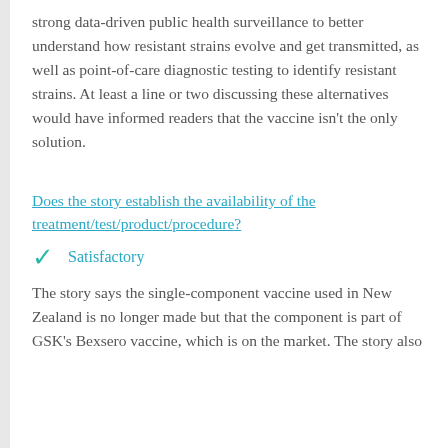strong data-driven public health surveillance to better understand how resistant strains evolve and get transmitted, as well as point-of-care diagnostic testing to identify resistant strains. At least a line or two discussing these alternatives would have informed readers that the vaccine isn't the only solution.
Does the story establish the availability of the treatment/test/product/procedure?
Satisfactory
The story says the single-component vaccine used in New Zealand is no longer made but that the component is part of GSK's Bexsero vaccine, which is on the market. The story also